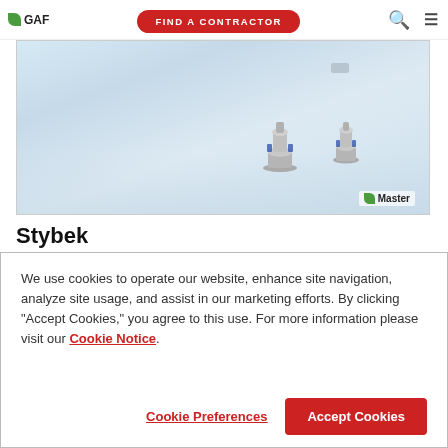GAF | FIND A CONTRACTOR
[Figure (photo): A white roof with two metal ventilation caps and a Master Elite badge in the bottom right corner]
Stybek
Serving Beachville, ON   32.2 ml
4.4 ★★★★½ (27)
We use cookies to operate our website, enhance site navigation, analyze site usage, and assist in our marketing efforts. By clicking "Accept Cookies," you agree to this use. For more information please visit our Cookie Notice.
Cookie Preferences | Accept Cookies